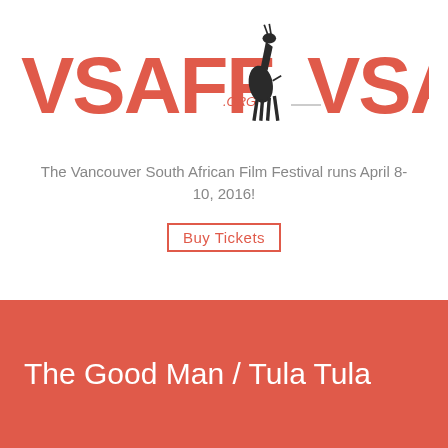[Figure (logo): VSAFF.ORG logo repeated twice with stylized antelope/springbok silhouettes, text in coral/salmon red color]
The Vancouver South African Film Festival runs April 8-10, 2016!
Buy Tickets
The Good Man / Tula Tula